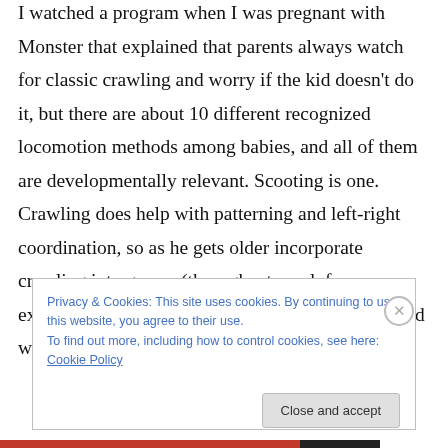I watched a program when I was pregnant with Monster that explained that parents always watch for classic crawling and worry if the kid doesn’t do it, but there are about 10 different recognized locomotion methods among babies, and all of them are developmentally relevant. Scooting is one. Crawling does help with patterning and left-right coordination, so as he gets older incorporate crawling into games (through a tunnel, for example). Anya wouldn’t crawl at all for ages. She’d walk up to a tunnel
Privacy & Cookies: This site uses cookies. By continuing to use this website, you agree to their use.
To find out more, including how to control cookies, see here: Cookie Policy
Close and accept